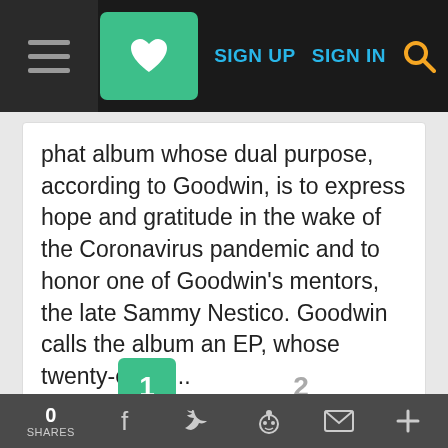SIGN UP  SIGN IN
phat album whose dual purpose, according to Goodwin, is to express hope and gratitude in the wake of the Coronavirus pandemic and to honor one of Goodwin's mentors, the late Sammy Nestico. Goodwin calls the album an EP, whose twenty-eight ...
0 SHARES  f  t  reddit  mail  +